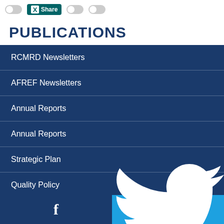[Figure (screenshot): Top navigation bar with toggle switches and XING share button]
PUBLICATIONS
RCMRD Newsletters
AFREF Newsletters
Annual Reports
Annual Reports
Strategic Plan
Quality Policy
Staff Publications
[Figure (screenshot): Bottom social sharing bar with Facebook and Twitter buttons]